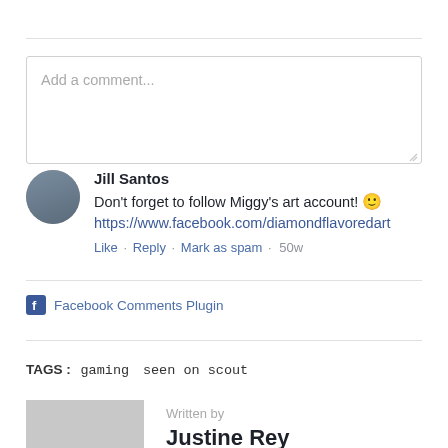[Figure (screenshot): Comment input box with placeholder text 'Add a comment...']
Jill Santos
Don't forget to follow Miggy's art account! 🙂
https://www.facebook.com/diamondflavoredart
Like · Reply · Mark as spam · 50w
Facebook Comments Plugin
TAGS : gaming  seen on scout
Written by
Justine Rey